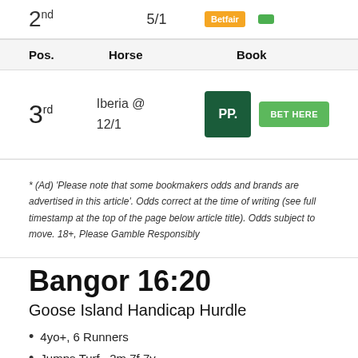| Pos. | Horse | Book |
| --- | --- | --- |
| 3rd | Iberia @ 12/1 | PP. / BET HERE |
* (Ad) 'Please note that some bookmakers odds and brands are advertised in this article'. Odds correct at the time of writing (see full timestamp at the top of the page below article title). Odds subject to move. 18+, Please Gamble Responsibly
Bangor 16:20
Goose Island Handicap Hurdle
4yo+, 6 Runners
Jumps,Turf , 2m 7f 7y